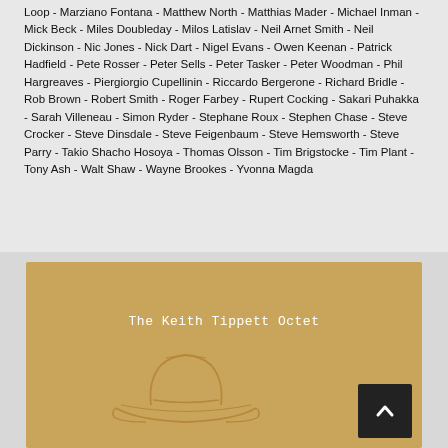Loop - Marziano Fontana - Matthew North - Matthias Mader - Michael Inman - Mick Beck - Miles Doubleday - Milos Latislav - Neil Arnet Smith - Neil Dickinson - Nic Jones - Nick Dart - Nigel Evans - Owen Keenan - Patrick Hadfield - Pete Rosser - Peter Sells - Peter Tasker - Peter Woodman - Phil Hargreaves - Piergiorgio Cupellinin - Riccardo Bergerone - Richard Bridle - Rob Brown - Robert Smith - Roger Farbey - Rupert Cocking - Sakari Puhakka - Sarah Villeneau - Simon Ryder - Stephane Roux - Stephen Chase - Steve Crocker - Steve Dinsdale - Steve Feigenbaum - Steve Hemsworth - Steve Parry - Takio Shacho Hosoya - Thomas Olsson - Tim Brigstocke - Tim Plant - Tony Ash - Walt Shaw - Wayne Brookes - Yvonna Magda
[Figure (illustration): Album cover for The Keith Tippett Octet on a tan/golden background with a sketch of a cowboy hat and a back-to-top button]